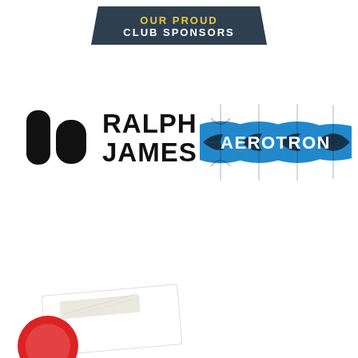OUR PROUD CLUB SPONSORS
[Figure (logo): Ralph James company logo with black geometric icon and bold text]
[Figure (logo): Aerotron logo with four blue globe/diamond shapes and white text AEROTRON]
[Figure (logo): Partial logo at bottom of page with red circle and tape/label element]